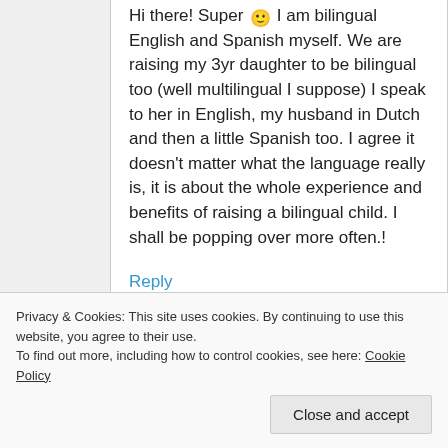Hi there! Super 🙂 I am bilingual English and Spanish myself. We are raising my 3yr daughter to be bilingual too (well multilingual I suppose) I speak to her in English, my husband in Dutch and then a little Spanish too. I agree it doesn't matter what the language really is, it is about the whole experience and benefits of raising a bilingual child. I shall be popping over more often.!
Reply
Privacy & Cookies: This site uses cookies. By continuing to use this website, you agree to their use. To find out more, including how to control cookies, see here: Cookie Policy
Close and accept